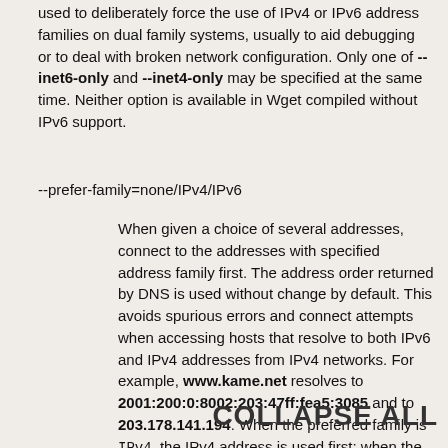used to deliberately force the use of IPv4 or IPv6 address families on dual family systems, usually to aid debugging or to deal with broken network configuration. Only one of --inet6-only and --inet4-only may be specified at the same time. Neither option is available in Wget compiled without IPv6 support.
--prefer-family=none/IPv4/IPv6
When given a choice of several addresses, connect to the addresses with specified address family first. The address order returned by DNS is used without change by default. This avoids spurious errors and connect attempts when accessing hosts that resolve to both IPv6 and IPv4 addresses from IPv4 networks. For example, www.kame.net resolves to 2001:200:0:8002:203:47ff:fea5:3085 and to 203.178.141.194. When the preferred family is IPv4, the IPv4 address is used first; when the preferred family is IPv6, the IPv6 address is used first; if the specified value is none. the address order returned by DNS is Unlike -4 and -6, this optic to any address family, it on...
COLLAPSE ALL